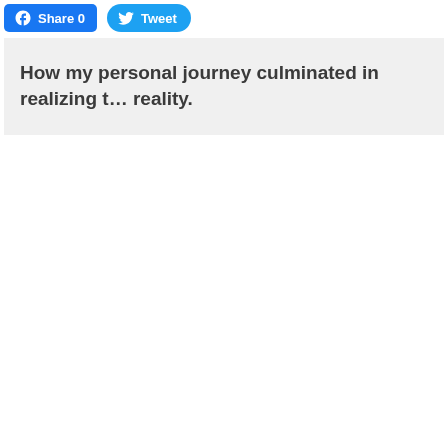[Figure (other): Facebook Share button (blue, rounded rectangle) with Facebook logo icon and text 'Share 0']
[Figure (other): Twitter Tweet button (blue, pill-shaped) with Twitter bird icon and text 'Tweet']
How my personal journey culminated in realizing t… reality.